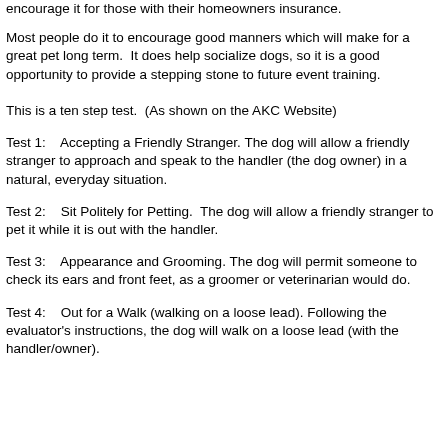encourage it for those with their homeowners insurance.
Most people do it to encourage good manners which will make for a great pet long term.  It does help socialize dogs, so it is a good opportunity to provide a stepping stone to future event training.
This is a ten step test.  (As shown on the AKC Website)
Test 1:    Accepting a Friendly Stranger. The dog will allow a friendly stranger to approach and speak to the handler (the dog owner) in a natural, everyday situation.
Test 2:    Sit Politely for Petting.  The dog will allow a friendly stranger to pet it while it is out with the handler.
Test 3:    Appearance and Grooming. The dog will permit someone to check its ears and front feet, as a groomer or veterinarian would do.
Test 4:    Out for a Walk (walking on a loose lead). Following the evaluator's instructions, the dog will walk on a loose lead (with the handler/owner).